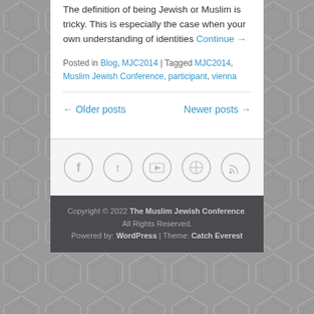The definition of being Jewish or Muslim is tricky. This is especially the case when your own understanding of identities Continue →
Posted in Blog, MJC2014 | Tagged MJC2014, Muslim Jewish Conference, participant, vienna
← Older posts   Newer posts →
[Figure (illustration): Five circular social media icons: Facebook, Twitter, YouTube, WordPress, RSS]
Copyright © 2022 The Muslim Jewish Conference. All Rights Reserved. Powered by: WordPress | Theme: Catch Everest